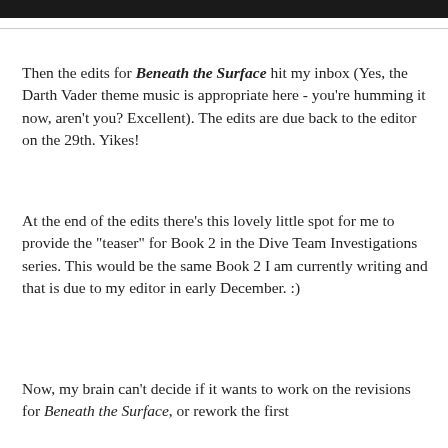[Figure (other): Dark header bar image at top of page]
Then the edits for Beneath the Surface hit my inbox (Yes, the Darth Vader theme music is appropriate here - you're humming it now, aren't you? Excellent). The edits are due back to the editor on the 29th. Yikes!
At the end of the edits there's this lovely little spot for me to provide the "teaser" for Book 2 in the Dive Team Investigations series.  This would be the same Book 2 I am currently writing and that is due to my editor in early December. :)
Now, my brain can't decide if it wants to work on the revisions for Beneath the Surface, or rework the first chapter of Book 2...